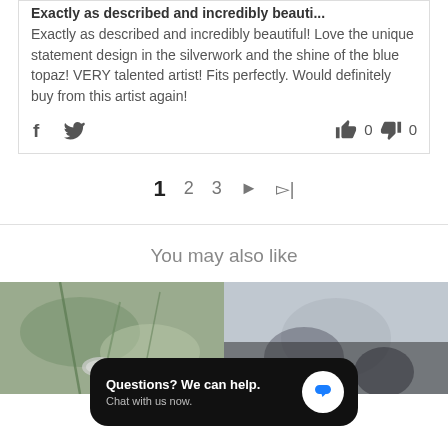Exactly as described and incredibly beauti...
Exactly as described and incredibly beautiful! Love the unique statement design in the silverwork and the shine of the blue topaz! VERY talented artist! Fits perfectly. Would definitely buy from this artist again!
Pagination: 1 2 3 > >|
You may also like
[Figure (photo): Two product photos side by side: left shows jewelry/ring on plant stems, right shows blurred dark product image]
Questions? We can help. Chat with us now.